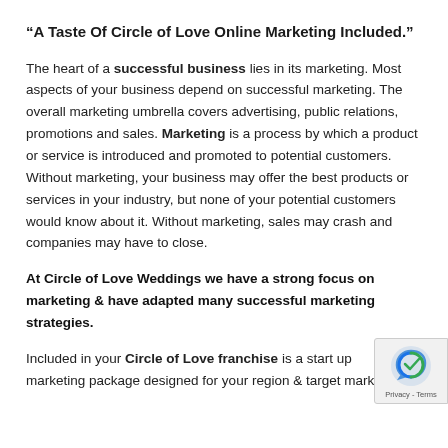“A Taste Of Circle of Love Online Marketing Included.”
The heart of a successful business lies in its marketing. Most aspects of your business depend on successful marketing. The overall marketing umbrella covers advertising, public relations, promotions and sales. Marketing is a process by which a product or service is introduced and promoted to potential customers. Without marketing, your business may offer the best products or services in your industry, but none of your potential customers would know about it. Without marketing, sales may crash and companies may have to close.
At Circle of Love Weddings we have a strong focus on marketing & have adapted many successful marketing strategies.
Included in your Circle of Love franchise is a start up marketing package designed for your region & target market.